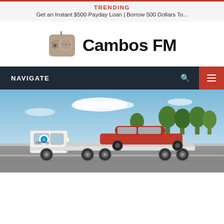TRENDING
Get an Instant $500 Payday Loan | Borrow 500 Dollars To...
[Figure (logo): Cambos FM logo with a radio icon and bold text 'Cambos FM']
NAVIGATE
[Figure (photo): A white Carvana truck transporting a red sedan on a flatbed, with trees and sky in the background]